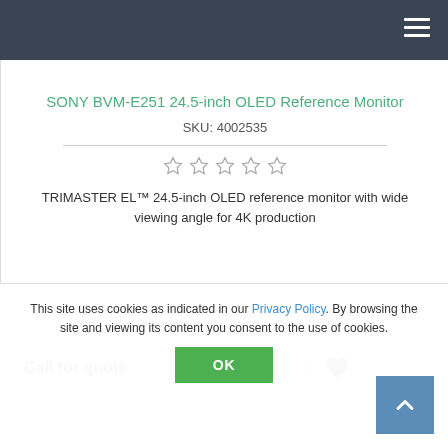Navigation bar with hamburger menu
SONY BVM-E251 24.5-inch OLED Reference Monitor
SKU: 4002535
[Figure (other): 5 empty star rating icons]
TRIMASTER EL™ 24.5-inch OLED reference monitor with wide viewing angle for 4K production
Call for quote
[Figure (other): Heart/wishlist icon button in a circular grey button]
This site uses cookies as indicated in our Privacy Policy. By browsing the site and viewing its content you consent to the use of cookies.
OK